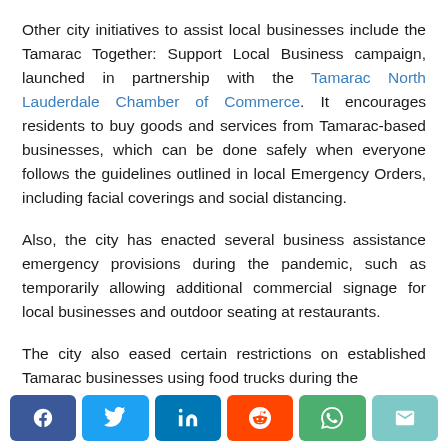Other city initiatives to assist local businesses include the Tamarac Together: Support Local Business campaign, launched in partnership with the Tamarac North Lauderdale Chamber of Commerce. It encourages residents to buy goods and services from Tamarac-based businesses, which can be done safely when everyone follows the guidelines outlined in local Emergency Orders, including facial coverings and social distancing.
Also, the city has enacted several business assistance emergency provisions during the pandemic, such as temporarily allowing additional commercial signage for local businesses and outdoor seating at restaurants.
The city also eased certain restrictions on established Tamarac businesses using food trucks during the
[Figure (infographic): Social share buttons: Facebook (blue), Twitter (light blue), LinkedIn (dark blue), Reddit (orange-red), WhatsApp (green), Email (teal)]